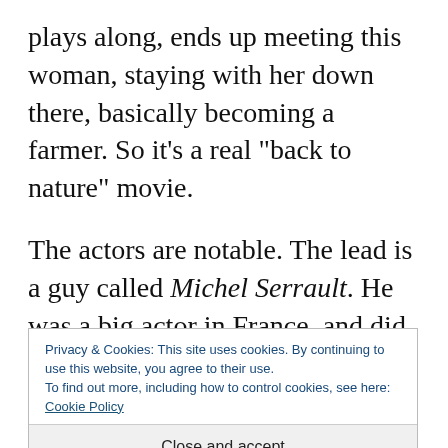plays along, ends up meeting this woman, staying with her down there, basically becoming a farmer. So it’s a real “back to nature” movie.
The actors are notable. The lead is a guy called Michel Serrault. He was a big actor in France, and did plenty of movies. English-speaking readers might have seen him in the original Cage aux Folles, before the Robin Williams remake.
Privacy & Cookies: This site uses cookies. By continuing to use this website, you agree to their use. To find out more, including how to control cookies, see here: Cookie Policy
Close and accept
bunch of these up-and-coming rock singers